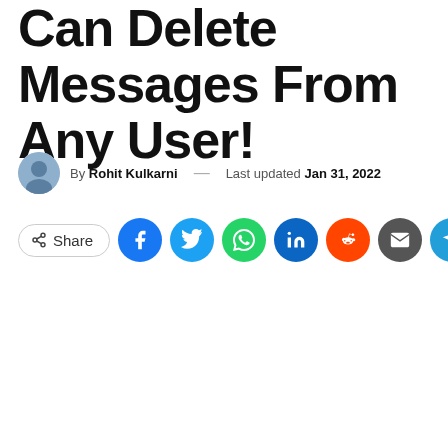Can Delete Messages From Any User!
By Rohit Kulkarni — Last updated Jan 31, 2022
[Figure (infographic): Social share bar with Share button, Facebook, Twitter, WhatsApp, LinkedIn, Reddit, Email, Telegram, and Print icons]